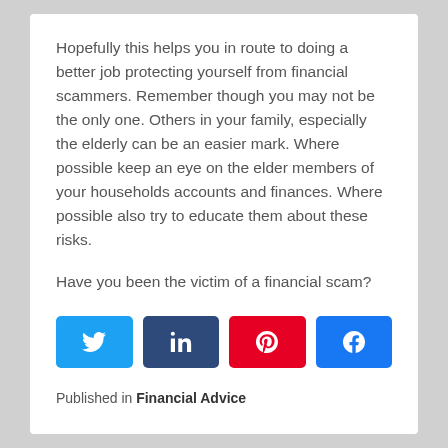Hopefully this helps you in route to doing a better job protecting yourself from financial scammers. Remember though you may not be the only one. Others in your family, especially the elderly can be an easier mark. Where possible keep an eye on the elder members of your households accounts and finances. Where possible also try to educate them about these risks.
Have you been the victim of a financial scam?
[Figure (infographic): Four social sharing buttons: Twitter (blue), LinkedIn (dark blue), Pinterest (red), Facebook (blue)]
Published in Financial Advice